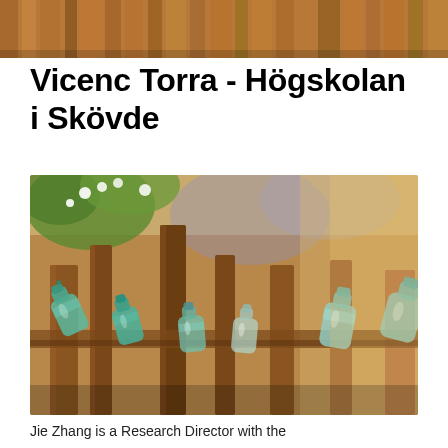[Figure (photo): Top partial image of a wooden fence, warm brown tones, partially cropped at top of page]
Vicenc Torra - Högskolan i Skövde
[Figure (photo): Photo of a rustic wooden fence with glass bottle insulators threaded onto the pickets, green/teal colored glass bottles, warm golden-brown wood tones, blossoming white flowers and green foliage visible in the background]
Jie Zhang is a Research Director with the